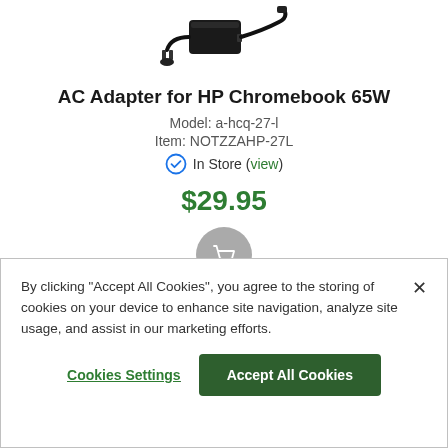[Figure (photo): AC power adapter for HP Chromebook, showing a black brick charger with cable]
AC Adapter for HP Chromebook 65W
Model: a-hcq-27-l
Item: NOTZZAHP-27L
In Store (view)
$29.95
[Figure (illustration): Shopping cart button icon (grey circle with white cart)]
By clicking “Accept All Cookies”, you agree to the storing of cookies on your device to enhance site navigation, analyze site usage, and assist in our marketing efforts.
Cookies Settings
Accept All Cookies